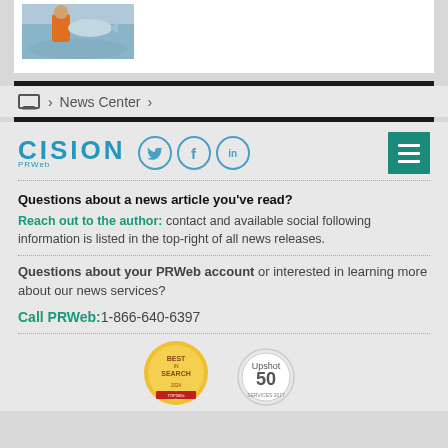[Figure (photo): Photo of a person in an orange jacket on a boat holding a large fish]
> News Center >
[Figure (logo): CISION PRWeb logo with social media icons (Twitter, Facebook, LinkedIn) and hamburger menu button]
Questions about a news article you've read?
Reach out to the author: contact and available social following information is listed in the top-right of all news releases.
Questions about your PRWeb account or interested in learning more about our news services?
Call PRWeb:1-866-640-6397
[Figure (logo): Best in Search badge and Upshot 50 award badge]